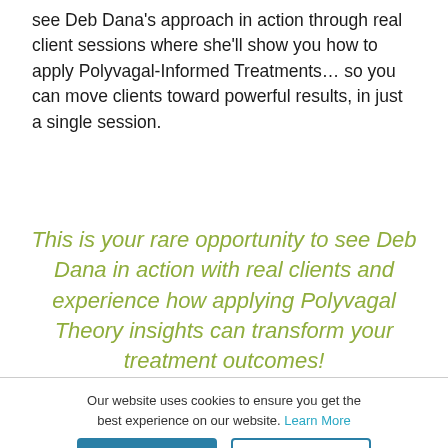see Deb Dana's approach in action through real client sessions where she'll show you how to apply Polyvagal-Informed Treatments… so you can move clients toward powerful results, in just a single session.
This is your rare opportunity to see Deb Dana in action with real clients and experience how applying Polyvagal Theory insights can transform your treatment outcomes!
Our website uses cookies to ensure you get the best experience on our website. Learn More